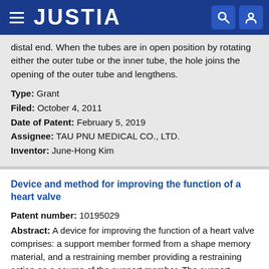JUSTIA
distal end. When the tubes are in open position by rotating either the outer tube or the inner tube, the hole joins the opening of the outer tube and lengthens.
Type: Grant
Filed: October 4, 2011
Date of Patent: February 5, 2019
Assignee: TAU PNU MEDICAL CO., LTD.
Inventor: June-Hong Kim
Device and method for improving the function of a heart valve
Patent number: 10195029
Abstract: A device for improving the function of a heart valve comprises: a support member formed from a shape memory material, and a restraining member providing a restraining action on a course of the support member. The support member may abut one